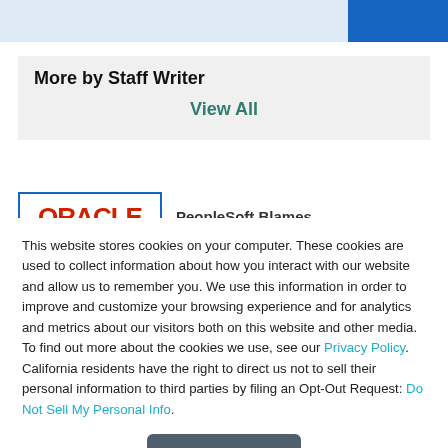More by Staff Writer
View All
[Figure (logo): Oracle logo in red letters inside a blue-bordered box]
PeopleSoft Blames
This website stores cookies on your computer. These cookies are used to collect information about how you interact with our website and allow us to remember you. We use this information in order to improve and customize your browsing experience and for analytics and metrics about our visitors both on this website and other media. To find out more about the cookies we use, see our Privacy Policy. California residents have the right to direct us not to sell their personal information to third parties by filing an Opt-Out Request: Do Not Sell My Personal Info.
Accept